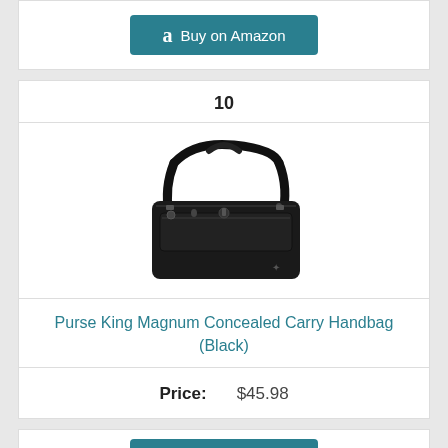[Figure (other): Buy on Amazon teal button at top of page]
10
[Figure (photo): Black Purse King Magnum Concealed Carry Handbag with shoulder strap]
Purse King Magnum Concealed Carry Handbag (Black)
Price: $45.98
[Figure (other): Buy on Amazon teal button at bottom of page (partially visible)]